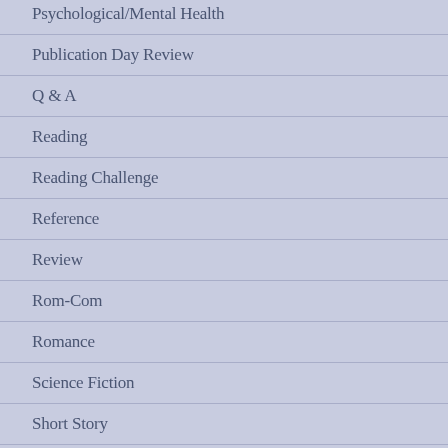Psychological/Mental Health
Publication Day Review
Q & A
Reading
Reading Challenge
Reference
Review
Rom-Com
Romance
Science Fiction
Short Story